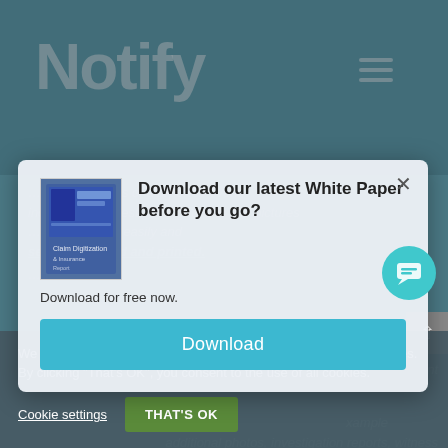[Figure (screenshot): Website screenshot showing 'Notify' brand header with teal/dark background, partially obscured by a modal popup overlay and cookie consent bar at bottom.]
Download our latest White Paper before you go?
Download for free now.
Download
We use cookies on our website for analytics and marketing purposes. By clicking “That’s OK”, you consent to the use of all cookies.
Cookie settings
THAT'S OK